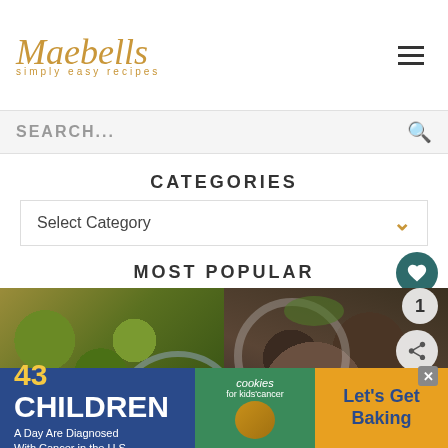Maebells simply easy recipes
SEARCH...
CATEGORIES
Select Category
MOST POPULAR
[Figure (photo): Sauteed zucchini with parmesan on a blue plate]
[Figure (photo): Mushroom dish with herbs in a white bowl]
WHAT'S NEXT → Easy Keto Meal Plan wi...
43 CHILDREN A Day Are Diagnosed With Cancer in the U.S. cookies for kids' cancer Let's Get Baking